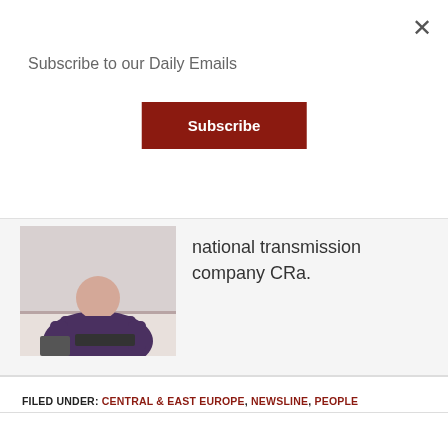Subscribe to our Daily Emails
Subscribe
[Figure (photo): Person sitting at desk with keyboard and tablet]
national transmission company CRa.
FILED UNDER: CENTRAL & EAST EUROPE, NEWSLINE, PEOPLE
TAGGED WITH: CRA, CZECH REPUBLIC, MILOS MASTNIK, VIT VAZAN
EDITED: 3 JUNE 2022 10:12
DofE channel debuts in Czech Republic